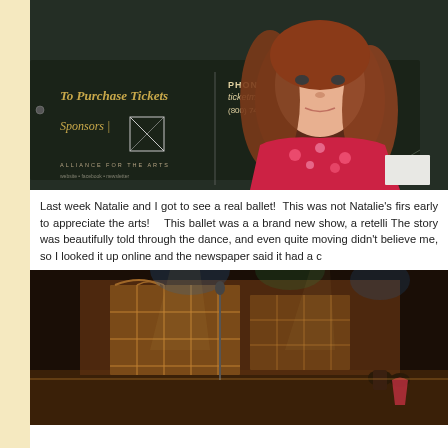[Figure (photo): A young red-haired girl in a red floral dress standing in front of a dark chalkboard-style sign that reads 'To Purchase Tickets | PHONE ticketmaster (800) 745-3000 | ONLINE www.ticketmaster... | Sponsors | Alliance for the Arts']
Last week Natalie and I got to see a real ballet!  This was not Natalie's first time to appreciate the arts!   This ballet was a a brand new show, a retelli... The story was beautifully told through the dance, and even quite moving ... didn't believe me, so I looked it up online and the newspaper said it had a c...
[Figure (photo): A theatrical stage scene with warm amber/orange lighting showing a set with large windowed or grid-patterned scenic elements, with performers on stage under dramatic stage lighting including blue and green lights.]